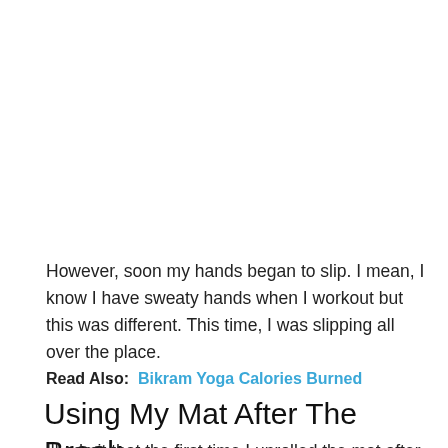However, soon my hands began to slip. I mean, I know I have sweaty hands when I workout but this was different. This time, I was slipping all over the place.
Read Also:  Bikram Yoga Calories Burned
Using My Mat After The Break
Ill admit that the first time I unrolled the mat after the